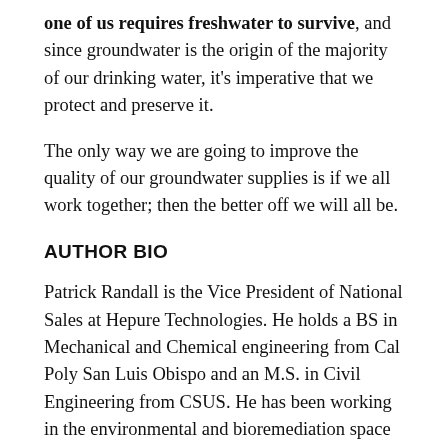one of us requires freshwater to survive, and since groundwater is the origin of the majority of our drinking water, it’s imperative that we protect and preserve it.
The only way we are going to improve the quality of our groundwater supplies is if we all work together; then the better off we will all be.
AUTHOR BIO
Patrick Randall is the Vice President of National Sales at Hepure Technologies. He holds a BS in Mechanical and Chemical engineering from Cal Poly San Luis Obispo and an M.S. in Civil Engineering from CSUS. He has been working in the environmental and bioremediation space since graduating in 1986.
LinkedIn: https://www.linkedin.com/in/patrick-randall-p-